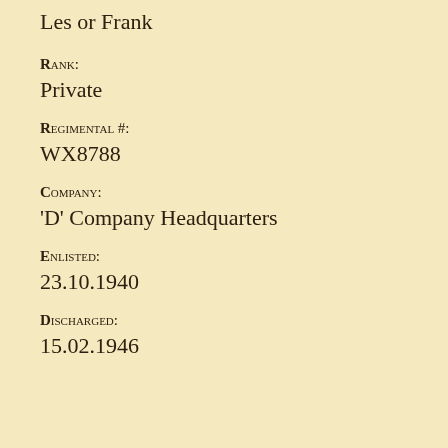Les or Frank
Rank:
Private
Regimental #:
WX8788
Company:
‘D’ Company Headquarters
Enlisted:
23.10.1940
Discharged:
15.02.1946